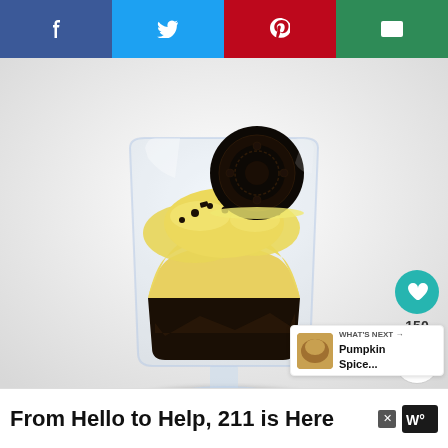[Figure (other): Social media share bar with four buttons: Facebook (blue), Twitter (cyan), Pinterest (red), Email (green), each with white icons]
[Figure (photo): A glass dessert cup containing layered Oreo cookie crumbs and creamy peanut butter or vanilla mousse, topped with whipped cream, cookie crumbles, and a whole Oreo cookie standing upright. White/light background.]
150
WHAT'S NEXT → Pumpkin Spice...
From Hello to Help, 211 is Here